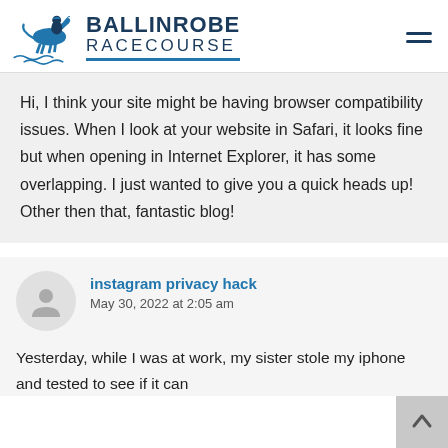[Figure (logo): Ballinrobe Racecourse logo with horse and jockey illustration and text]
Hi, I think your site might be having browser compatibility issues. When I look at your website in Safari, it looks fine but when opening in Internet Explorer, it has some overlapping. I just wanted to give you a quick heads up! Other then that, fantastic blog!
instagram privacy hack
May 30, 2022 at 2:05 am
Yesterday, while I was at work, my sister stole my iphone and tested to see if it can